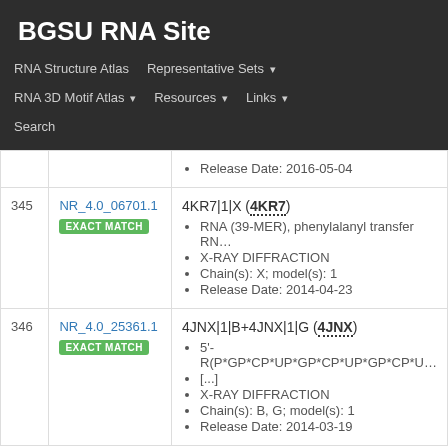BGSU RNA Site
RNA Structure Atlas | Representative Sets | RNA 3D Motif Atlas | Resources | Links | Search
| # | ID | Details |
| --- | --- | --- |
|  |  | Release Date: 2016-05-04 |
| 345 | NR_4.0_06701.1 EXACT MATCH | 4KR7|1|X (4KR7)
• RNA (39-MER), phenylalanyl transfer RNA
• X-RAY DIFFRACTION
• Chain(s): X; model(s): 1
• Release Date: 2014-04-23 |
| 346 | NR_4.0_25361.1 EXACT MATCH | 4JNX|1|B+4JNX|1|G (4JNX)
• 5'-R(P*GP*CP*UP*GP*CP*UP*GP*CP*U [...]
• X-RAY DIFFRACTION
• Chain(s): B, G; model(s): 1
• Release Date: 2014-03-19 |